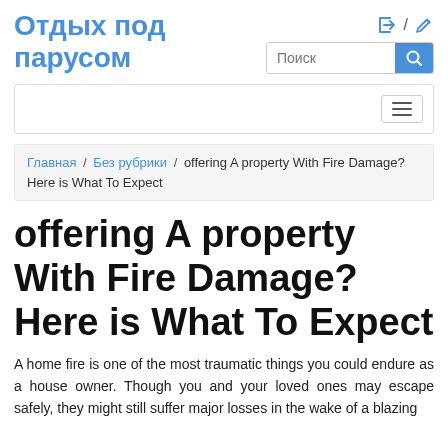Отдых под парусом
offering A property With Fire Damage? Here is What To Expect
A home fire is one of the most traumatic things you could endure as a house owner. Though you and your loved ones may escape safely, they might still suffer major losses in the wake of a blazing